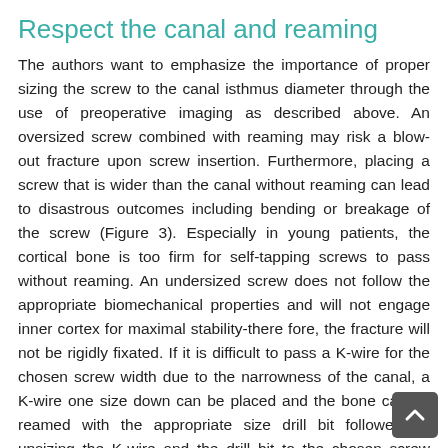Respect the canal and reaming
The authors want to emphasize the importance of proper sizing the screw to the canal isthmus diameter through the use of preoperative imaging as described above. An oversized screw combined with reaming may risk a blow-out fracture upon screw insertion. Furthermore, placing a screw that is wider than the canal without reaming can lead to disastrous outcomes including bending or breakage of the screw (Figure 3). Especially in young patients, the cortical bone is too firm for self-tapping screws to pass without reaming. An undersized screw does not follow the appropriate biomechanical properties and will not engage inner cortex for maximal stability-there fore, the fracture will not be rigidly fixated. If it is difficult to pass a K-wire for the chosen screw width due to the narrowness of the canal, a K-wire one size down can be placed and the bone can be reamed with the appropriate size drill bit followed by upsizing the K-wire and the drill bit to the chosen screw width.